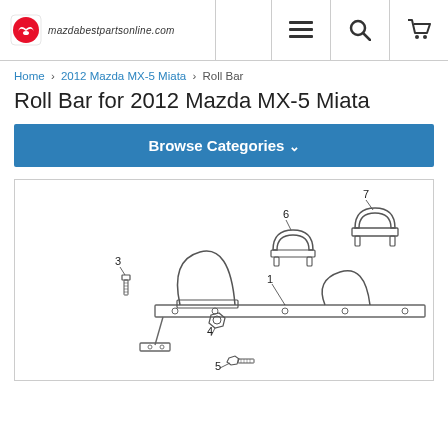mazdabestpartsonline.com
Home › 2012 Mazda MX-5 Miata › Roll Bar
Roll Bar for 2012 Mazda MX-5 Miata
Browse Categories ∨
[Figure (engineering-diagram): Exploded parts diagram for Roll Bar assembly for 2012 Mazda MX-5 Miata. Shows numbered parts: 1 (roll bar horizontal frame), 3 (bolt/screw), 4 (nut/washer), 5 (bolt), 6 (roll bar hoop bracket, medium), 7 (roll bar hoop bracket, large).]